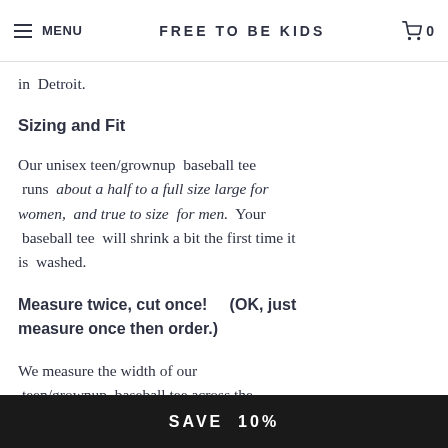MENU | FREE TO BE KIDS | 🛒 0
child labor, and then carefully proof editing farms of love, manufacturing partners in Detroit.
Sizing and Fit
Our unisex teen/grownup baseball tee runs about a half to a full size large for women, and true to size for men. Your baseball tee will shrink a bit the first time it is washed.
Measure twice, cut once!    (OK, just measure once then order.)
We measure the width of our teen/grownup baseball tee across the
SAVE 10%